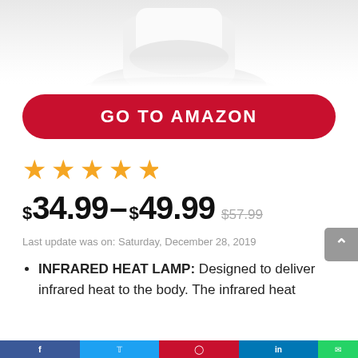[Figure (photo): Partial product image of a white infrared heat lamp, cropped at top]
GO TO AMAZON
[Figure (other): 4 orange/gold star rating icons]
$34.99–$49.99 $57.99
Last update was on: Saturday, December 28, 2019
INFRARED HEAT LAMP: Designed to deliver infrared heat to the body. The infrared heat